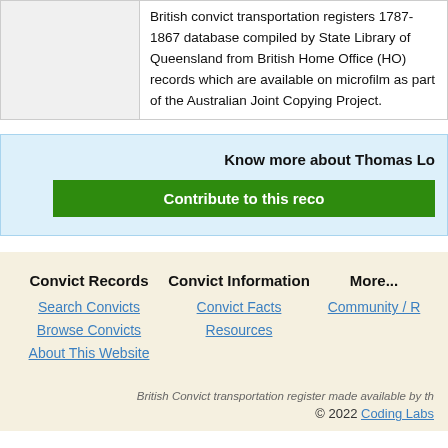|  | British convict transportation registers 1787-1867 database compiled by State Library of Queensland from British Home Office (HO) records which are available on microfilm as part of the Australian Joint Copying Project. |
Know more about Thomas Lo
Contribute to this reco
Convict Records
Search Convicts
Browse Convicts
About This Website
Convict Information
Convict Facts
Resources
More...
Community / R
British Convict transportation register made available by th
© 2022 Coding Labs